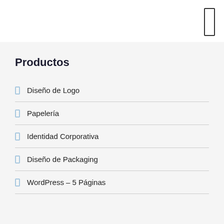[Figure (other): Mobile phone icon outline in top right corner of white header bar]
Productos
Diseño de Logo
Papelería
Identidad Corporativa
Diseño de Packaging
WordPress – 5 Páginas